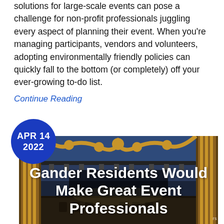solutions for large-scale events can pose a challenge for non-profit professionals juggling every aspect of planning their event. When you're managing participants, vendors and volunteers, adopting environmentally friendly policies can quickly fall to the bottom (or completely) off your ever-growing to-do list.
Continue Reading
[Figure (photo): Interior of an ornate theatre stage with blue and gold decorative proscenium arch, stage lighting rigs, and theatre seats visible in background. White bold text overlay reads: Gander Residents Would Make Great Event Professionals. A blue circular date badge in the upper left reads APR 14 2022.]